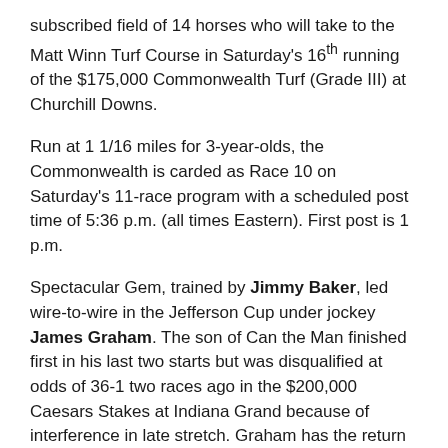subscribed field of 14 horses who will take to the Matt Winn Turf Course in Saturday's 16th running of the $175,000 Commonwealth Turf (Grade III) at Churchill Downs.
Run at 1 1/16 miles for 3-year-olds, the Commonwealth is carded as Race 10 on Saturday's 11-race program with a scheduled post time of 5:36 p.m. (all times Eastern). First post is 1 p.m.
Spectacular Gem, trained by Jimmy Baker, led wire-to-wire in the Jefferson Cup under jockey James Graham. The son of Can the Man finished first in his last two starts but was disqualified at odds of 36-1 two races ago in the $200,000 Caesars Stakes at Indiana Grand because of interference in late stretch. Graham has the return call in the Commonwealth.
The three horses who finished behind Spectacular Gem in the Jefferson Cup – Calumet Farm's Tracksmith, Ken